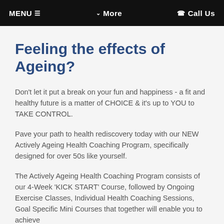MENU ☰    ∨ More    ☎ Call Us
Feeling the effects of Ageing?
Don't let it put a break on your fun and happiness - a fit and healthy future is a matter of CHOICE & it's up to YOU to TAKE CONTROL.
Pave your path to health rediscovery today with our NEW Actively Ageing Health Coaching Program, specifically designed for over 50s like yourself.
The Actively Ageing Health Coaching Program consists of our 4-Week 'KICK START' Course, followed by Ongoing Exercise Classes, Individual Health Coaching Sessions, Goal Specific Mini Courses that together will enable you to achieve